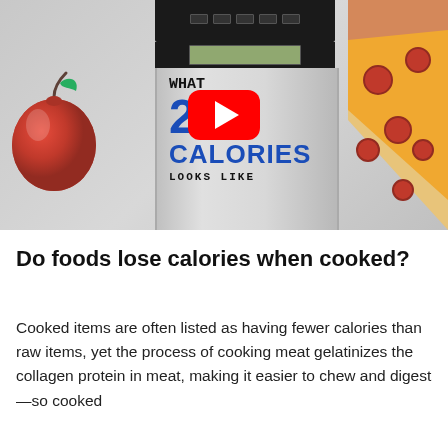[Figure (screenshot): YouTube video thumbnail showing a kitchen scale with text 'WHAT 200 CALORIES LOOKS LIKE' written on it, a red apple on the left, a pepperoni pizza slice on the right, and a YouTube play button overlay in the center]
Do foods lose calories when cooked?
Cooked items are often listed as having fewer calories than raw items, yet the process of cooking meat gelatinizes the collagen protein in meat, making it easier to chew and digest—so cooked meat has more calories than...